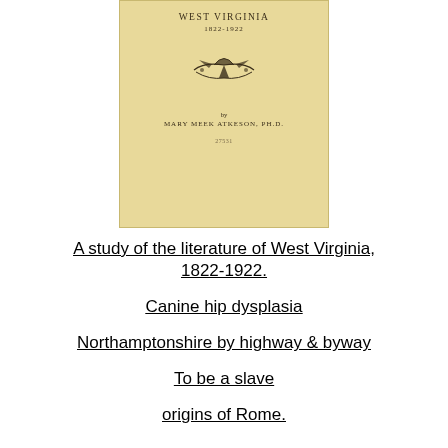[Figure (photo): Book cover of 'A Study of the Literature of West Virginia, 1822-1922' by Mary Meek Atkeson, Ph.D. Tan/beige cover with ornamental bird decoration and a library stamp.]
A study of the literature of West Virginia, 1822-1922.
Canine hip dysplasia
Northamptonshire by highway & byway
To be a slave
origins of Rome.